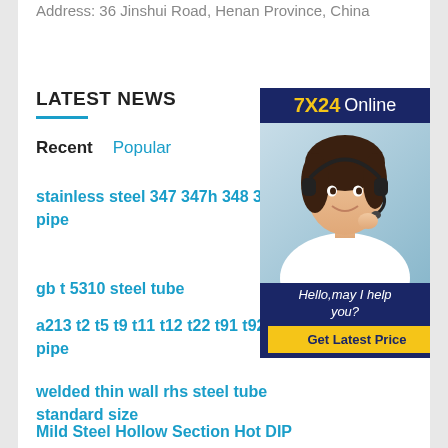Address: 36 Jinshui Road, Henan Province, China
LATEST NEWS
Recent   Popular
stainless steel 347 347h 348 34 pipe
gb t 5310 steel tube
a213 t2 t5 t9 t11 t12 t22 t91 t92 pipe
welded thin wall rhs steel tube standard size
Mild Steel Hollow Section Hot DIP
[Figure (photo): Customer service representative wearing a headset, smiling. Banner reads '7X24 Online' at top and 'Hello, may I help you? Get Latest Price' at the bottom.]